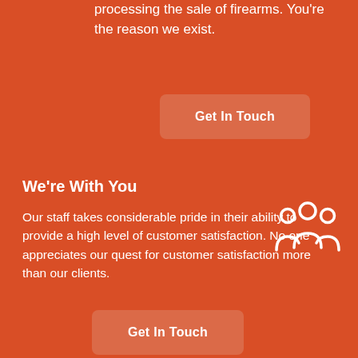processing the sale of firearms. You're the reason we exist.
Get In Touch
We're With You
Our staff takes considerable pride in their ability to provide a high level of customer satisfaction. No one appreciates our quest for customer satisfaction more than our clients.
[Figure (illustration): White outline icon of a group of people (team/community icon) on orange background]
Get In Touch